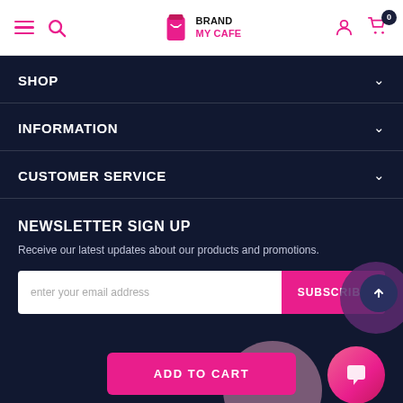BrandMyCafe navigation header with hamburger menu, search, logo, account, and cart icons
SHOP
INFORMATION
CUSTOMER SERVICE
NEWSLETTER SIGN UP
Receive our latest updates about our products and promotions.
enter your email address | SUBSCRIBE
ADD TO CART